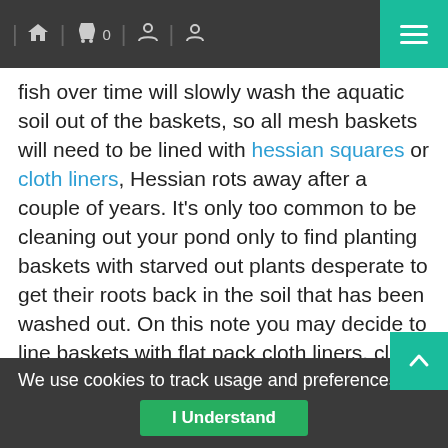Navigation bar with home, cart (0), search, account icons and hamburger menu
fish over time will slowly wash the aquatic soil out of the baskets, so all mesh baskets will need to be lined with hessian squares or cloth liners, Hessian rots away after a couple of years. It's only too common to be cleaning out your pond only to find planting baskets with starved out plants desperate to get their roots back in the soil that has been washed out. On this note you may decide to line baskets with flat pack cloth liners, cloth liners are more expensive than Hessian but longer lasting and excellent for preventing soil erosion. More popular nowadays are the flat pack planting bags, not as long lasting as mesh baskets, but they have advantages, there is no soil erosion, they are cheap, dont require liners and, are very adaptable for uneven Marginal sh
We use cookies to track usage and preferences.
I Understand